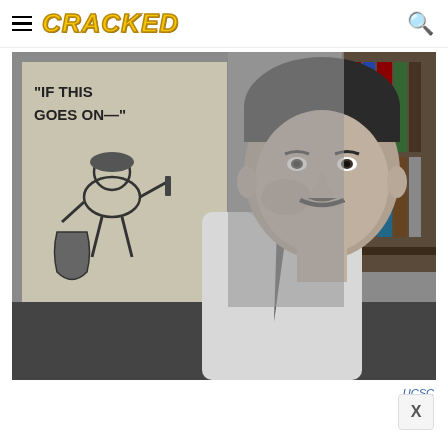CRACKED
[Figure (photo): Black and white photograph of a man with a mustache in a collared shirt, sitting in front of a bookshelf and a hand-drawn poster reading 'If This Goes On—']
UCSC
X